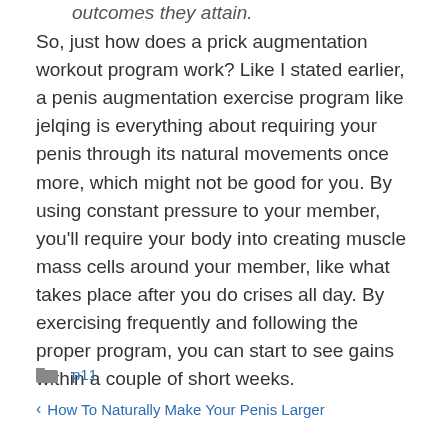outcomes they attain.
So, just how does a prick augmentation workout program work? Like I stated earlier, a penis augmentation exercise program like jelqing is everything about requiring your penis through its natural movements once more, which might not be good for you. By using constant pressure to your member, you’ll require your body into creating muscle mass cells around your member, like what takes place after you do crises all day. By exercising frequently and following the proper program, you can start to see gains within a couple of short weeks.
p11
How To Naturally Make Your Penis Larger